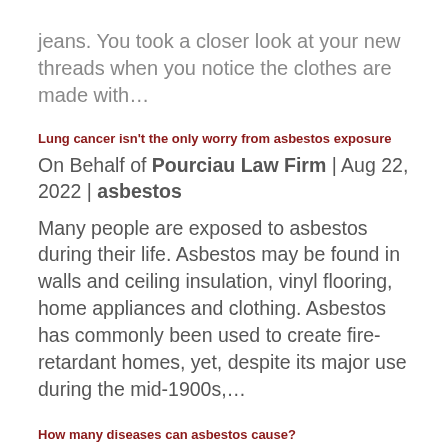jeans. You took a closer look at your new threads when you notice the clothes are made with…
Lung cancer isn't the only worry from asbestos exposure
On Behalf of Pourciau Law Firm | Aug 22, 2022 | asbestos
Many people are exposed to asbestos during their life. Asbestos may be found in walls and ceiling insulation, vinyl flooring, home appliances and clothing. Asbestos has commonly been used to create fire-retardant homes, yet, despite its major use during the mid-1900s,…
How many diseases can asbestos cause?